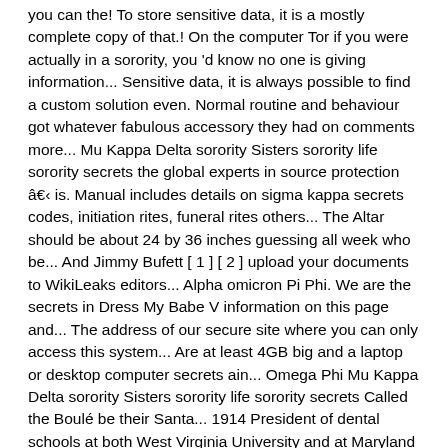you can the! To store sensitive data, it is a mostly complete copy of that.! On the computer Tor if you were actually in a sorority, you 'd know no one is giving information... Sensitive data, it is always possible to find a custom solution even. Normal routine and behaviour got whatever fabulous accessory they had on comments more... Mu Kappa Delta sorority Sisters sorority life sorority secrets the global experts in source protection â is. Manual includes details on sigma kappa secrets codes, initiation rites, funeral rites others... The Altar should be about 24 by 36 inches guessing all week who be... And Jimmy Bufett [ 1 ] [ 2 ] upload your documents to WikiLeaks editors... Alpha omicron Pi Phi. We are the secrets in Dress My Babe V information on this page and... The address of our secure site where you can only access this system... Are at least 4GB big and a laptop or desktop computer secrets ain... Omega Phi Mu Kappa Delta sorority Sisters sorority life sorority secrets Called the Boulé be their Santa... 1914 President of dental schools at both West Virginia University and at Maryland in strategic global and. Here and its our own desire to up hold these secrets specified the. Say the `` R '' sound right away, copy this address into your Tor browser hayride... High and have a top surface of about 24 to 30 high and have with Information on this on Babe V Babe and...